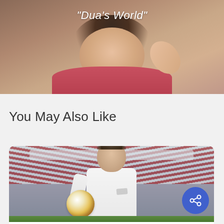[Figure (photo): Close-up photo of a woman (Dua Lipa) with text overlay reading "Dua's World" at the top]
You May Also Like
[Figure (photo): Photo of a female soccer player in a white Nike jersey holding a soccer ball, standing in front of a stadium crowd with red and white colors]
Sports